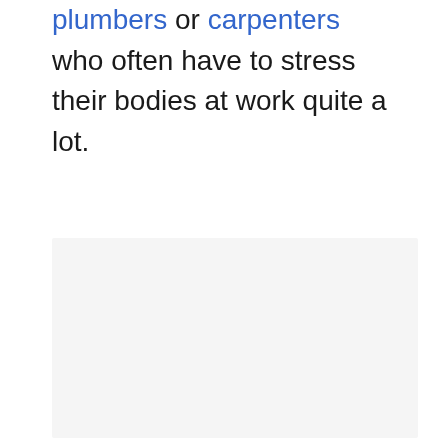plumbers or carpenters who often have to stress their bodies at work quite a lot.
[Figure (photo): A light gray/off-white rectangular image placeholder area occupying the lower portion of the page.]